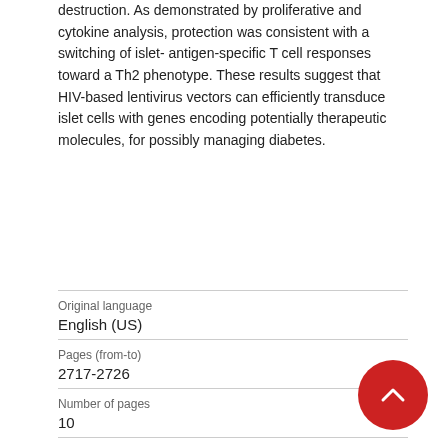destruction. As demonstrated by proliferative and cytokine analysis, protection was consistent with a switching of islet-antigen-specific T cell responses toward a Th2 phenotype. These results suggest that HIV-based lentivirus vectors can efficiently transduce islet cells with genes encoding potentially therapeutic molecules, for possibly managing diabetes.
| Field | Value |
| --- | --- |
| Original language | English (US) |
| Pages (from-to) | 2717-2726 |
| Number of pages | 10 |
| Journal | Human gene therapy |
| Volume | 9 |
| Issue number |  |